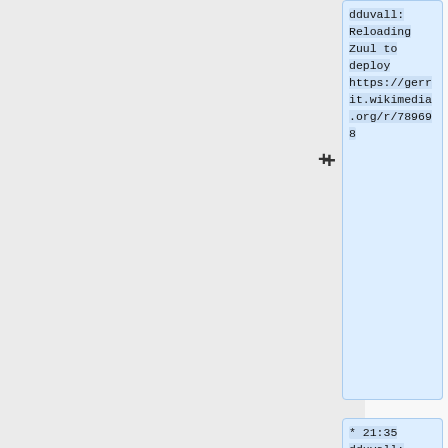dduvall: Reloading Zuul to deploy https://gerrit.wikimedia.org/r/7896698
* 21:35 dduvall: created 4 jobs to deploy https://gerrit.wikimedia.org/r/c/integration/config/+/789697
* 21:26 dduvall: Reloading